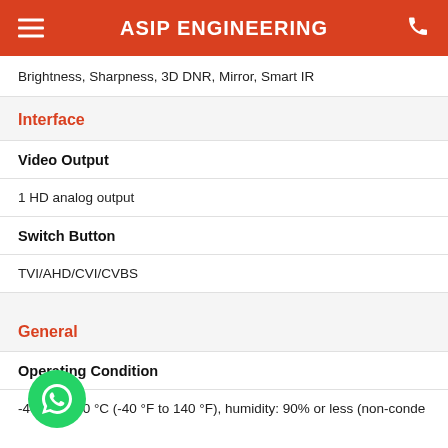ASIP ENGINEERING
Brightness, Sharpness, 3D DNR, Mirror, Smart IR
Interface
Video Output
1 HD analog output
Switch Button
TVI/AHD/CVI/CVBS
General
Operating Condition
-40 °C to 60 °C (-40 °F to 140 °F), humidity: 90% or less (non-conde